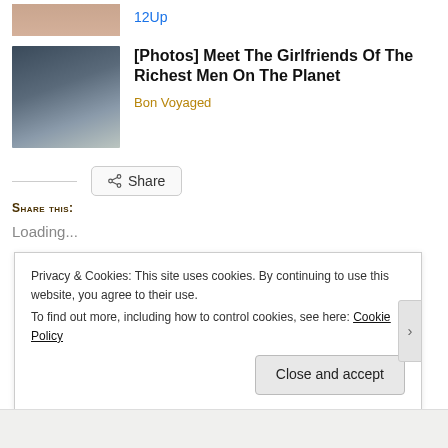[Figure (photo): Partial photo of a person at the top of the page]
12Up
[Figure (photo): Photo of a man in a suit with sunglasses and a young woman with long hair and sunglasses, seated at what appears to be a sporting event]
[Photos] Meet The Girlfriends Of The Richest Men On The Planet
Bon Voyaged
Share
Share this:
Loading...
Privacy & Cookies: This site uses cookies. By continuing to use this website, you agree to their use.
To find out more, including how to control cookies, see here: Cookie Policy
Close and accept